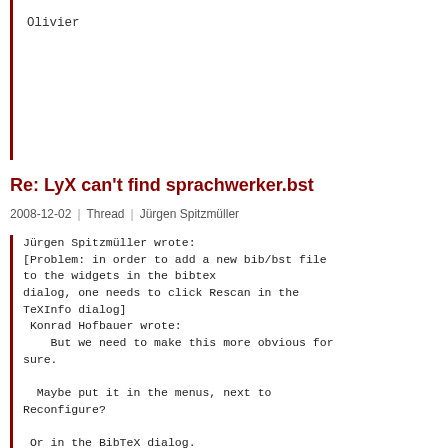Olivier
Re: LyX can't find sprachwerker.bst
2008-12-02  |  Thread  |  Jürgen Spitzmüller
Jürgen Spitzmüller wrote:
[Problem: in order to add a new bib/bst file to the widgets in the bibtex dialog, one needs to click Rescan in the TeXInfo dialog]
 Konrad Hofbauer wrote:
   But we need to make this more obvious for sure.

  Maybe put it in the menus, next to Reconfigure?

 Or in the BibTeX dialog.

I did this now (in trunk), Please have a look. I'd like to backport this to